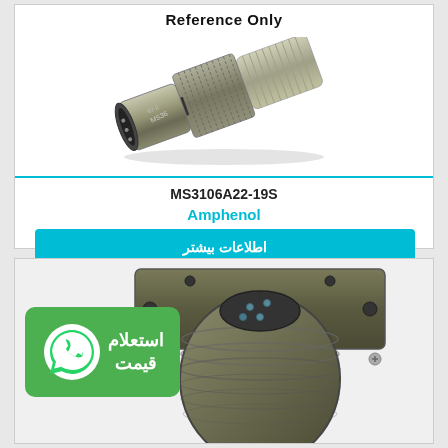Reference Only
[Figure (photo): Photo of an Amphenol MS3106A22-19S military circular connector, olive-drab metallic cylindrical body with knurled coupling ring and threaded sections.]
MS3106A22-19S
Amphenol
اطلاعات بیشتر
[Figure (photo): Close-up photo of a circular military-spec connector (flange mount receptacle), olive-green body with mounting holes and visible contact pins, partially cropped. Overlaid WhatsApp inquiry badge reading استعلام قیمت (Price Inquiry).]